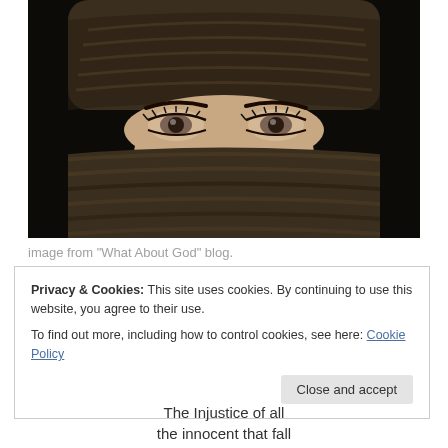[Figure (photo): Close-up portrait of a person with eyes visible, face and head wrapped in a dark braided/woven scarf or wrap, dramatic dark background, kohl-lined eyes with jeweled accents]
image from "What About God" blog.
Privacy & Cookies: This site uses cookies. By continuing to use this website, you agree to their use.
To find out more, including how to control cookies, see here: Cookie Policy
Close and accept
The Injustice of all the innocent that fall